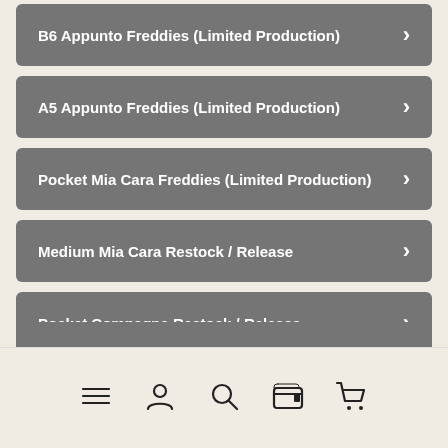B6 Appunto Freddies (Limited Production)
A5 Appunto Freddies (Limited Production)
Pocket Mia Cara Freddies (Limited Production)
Medium Mia Cara Restock / Release
Pocket Compagna Restock / Release
Epoca Peach Release
Navigation bar with menu, account, search, wallet, and cart icons